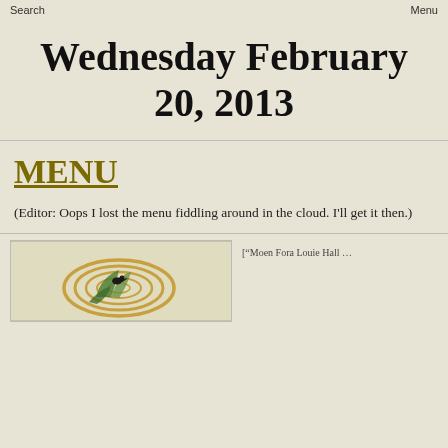Search   Menu
Wednesday February 20, 2013
MENU
(Editor: Oops I lost the menu fiddling around in the cloud. I'll get it then.)
[Figure (illustration): Decorative artistic illustration showing circular wire rings with a small bird and green plant or feather elements]